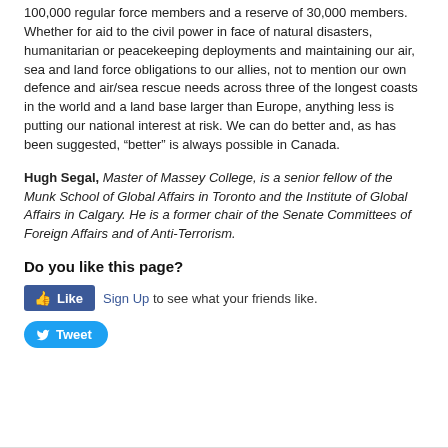100,000 regular force members and a reserve of 30,000 members. Whether for aid to the civil power in face of natural disasters, humanitarian or peacekeeping deployments and maintaining our air, sea and land force obligations to our allies, not to mention our own defence and air/sea rescue needs across three of the longest coasts in the world and a land base larger than Europe, anything less is putting our national interest at risk. We can do better and, as has been suggested, “better” is always possible in Canada.
Hugh Segal, Master of Massey College, is a senior fellow of the Munk School of Global Affairs in Toronto and the Institute of Global Affairs in Calgary. He is a former chair of the Senate Committees of Foreign Affairs and of Anti-Terrorism.
Do you like this page?
[Figure (other): Facebook Like button with Sign Up link and Tweet button]